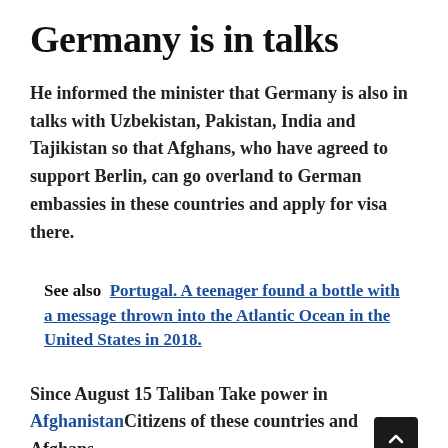Germany is in talks
He informed the minister that Germany is also in talks with Uzbekistan, Pakistan, India and Tajikistan so that Afghans, who have agreed to support Berlin, can go overland to German embassies in these countries and apply for visa there.
See also  Portugal. A teenager found a bottle with a message thrown into the Atlantic Ocean in the United States in 2018.
Since August 15 Taliban Take power in Afghanistan Citizens of these countries and Afghans